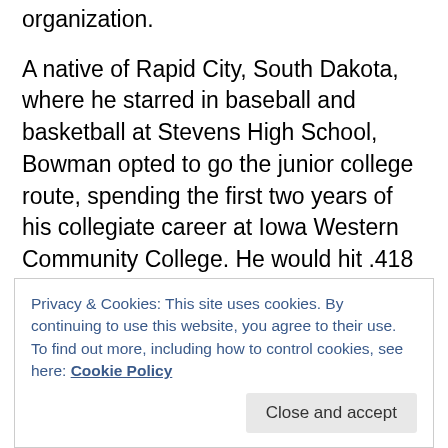organization.
A native of Rapid City, South Dakota, where he starred in baseball and basketball at Stevens High School, Bowman opted to go the junior college route, spending the first two years of his collegiate career at Iowa Western Community College. He would hit .418 over 84 games in his career at IWCC, shattering the single-season program record with 90 runs scored in 2019, where he led the Reivers to a JUCO College World Series berth.
Drawing interest from many of the top DI programs following his sensational display in 2019, Bowman
Privacy & Cookies: This site uses cookies. By continuing to use this website, you agree to their use.
To find out more, including how to control cookies, see here: Cookie Policy
Jeter at shortstop, which is why he had no complaints